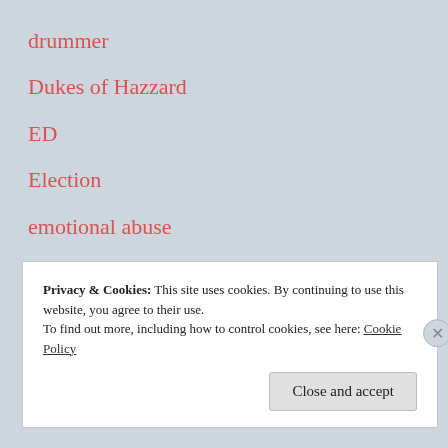drummer
Dukes of Hazzard
ED
Election
emotional abuse
energy
England
Environmental Working Group
Privacy & Cookies: This site uses cookies. By continuing to use this website, you agree to their use.
To find out more, including how to control cookies, see here: Cookie Policy
Close and accept